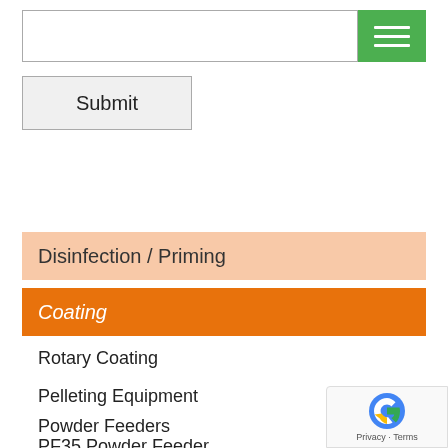[Figure (screenshot): Search input field with green hamburger menu button on the right]
[Figure (screenshot): Submit button with gray background and border]
Disinfection / Priming
Coating
Rotary Coating
Pelleting Equipment
Powder Feeders
PF35 Powder Feeder
PF38 Powder Feeder